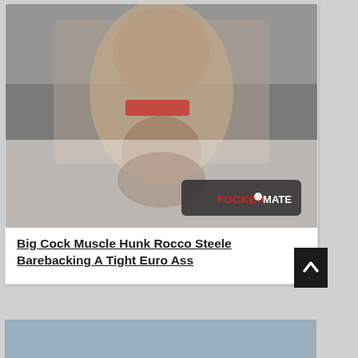[Figure (photo): Photograph of two men on a bed, one on top of the other, with a FUCKERMATE watermark logo visible in the lower right corner.]
Big Cock Muscle Hunk Rocco Steele Barebacking A Tight Euro Ass
[Figure (photo): Bottom portion of a second photo card, partially visible at the bottom of the page.]